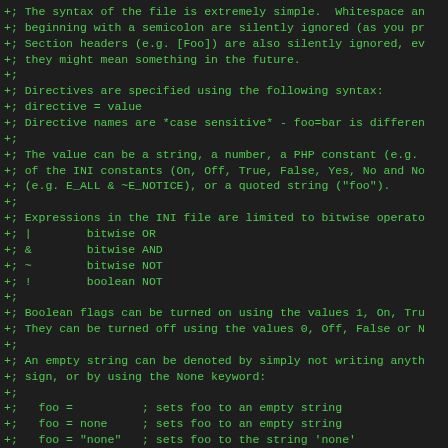+; The syntax of the file is extremely simple.  Whitespace an
+; beginning with a semicolon are silently ignored (as you pr
+; Section headers (e.g. [Foo]) are also silently ignored, ev
+; they might mean something in the future.
+;
+; Directives are specified using the following syntax:
+; directive = value
+; Directive names are *case sensitive* - foo=bar is differen
+;
+; The value can be a string, a number, a PHP constant (e.g.
+; of the INI constants (On, Off, True, False, Yes, No and No
+; (e.g. E_ALL & ~E_NOTICE), or a quoted string ("foo").
+;
+; Expressions in the INI file are limited to bitwise operato
+; |        bitwise OR
+; &        bitwise AND
+; ~        bitwise NOT
+; !        boolean NOT
+;
+; Boolean flags can be turned on using the values 1, On, Tru
+; They can be turned off using the values 0, Off, False or N
+;
+; An empty string can be denoted by simply not writing anyth
+; sign, or by using the None keyword:
+;
+;   foo =          ; sets foo to an empty string
+;   foo = none     ; sets foo to an empty string
+;   foo = "none"   ; sets foo to the string 'none'
+;
+; If you use constants in your value, and these constants be
+; dynamically loaded extension (either a PHP extension or a
+; you may only use these constants *after* the line that loa